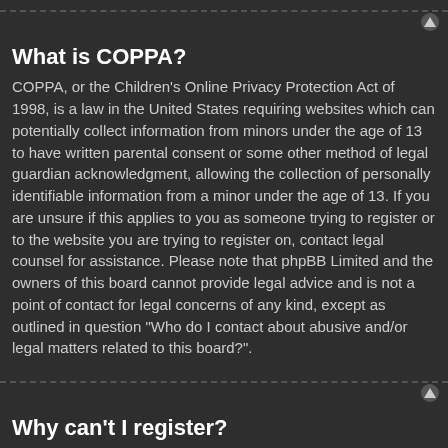What is COPPA?
COPPA, or the Children's Online Privacy Protection Act of 1998, is a law in the United States requiring websites which can potentially collect information from minors under the age of 13 to have written parental consent or some other method of legal guardian acknowledgment, allowing the collection of personally identifiable information from a minor under the age of 13. If you are unsure if this applies to you as someone trying to register or to the website you are trying to register on, contact legal counsel for assistance. Please note that phpBB Limited and the owners of this board cannot provide legal advice and is not a point of contact for legal concerns of any kind, except as outlined in question “Who do I contact about abusive and/or legal matters related to this board?”.
Why can’t I register?
It is possible a board administrator has disabled registration to prevent new visitors from signing up. A board administrator could have also banned your IP address or disallowed the username you are attempting to register. Contact a board administrator for assistance.
I registered but cannot login!